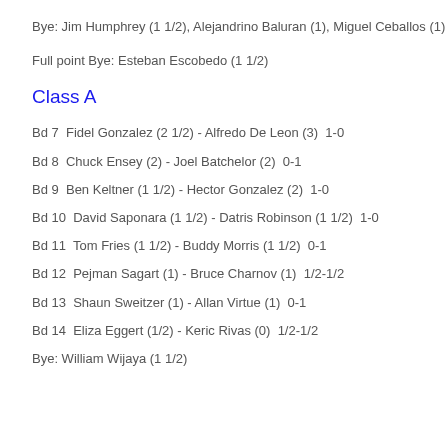Bye: Jim Humphrey (1 1/2), Alejandrino Baluran (1), Miguel Ceballos (1)
Full point Bye: Esteban Escobedo (1 1/2)
Class A
Bd 7  Fidel Gonzalez (2 1/2) - Alfredo De Leon (3)  1-0
Bd 8  Chuck Ensey (2) - Joel Batchelor (2)  0-1
Bd 9  Ben Keltner (1 1/2) - Hector Gonzalez (2)  1-0
Bd 10  David Saponara (1 1/2) - Datris Robinson (1 1/2)  1-0
Bd 11  Tom Fries (1 1/2) - Buddy Morris (1 1/2)  0-1
Bd 12  Pejman Sagart (1) - Bruce Charnov (1)  1/2-1/2
Bd 13  Shaun Sweitzer (1) - Allan Virtue (1)  0-1
Bd 14  Eliza Eggert (1/2) - Keric Rivas (0)  1/2-1/2
Bye: William Wijaya (1 1/2)